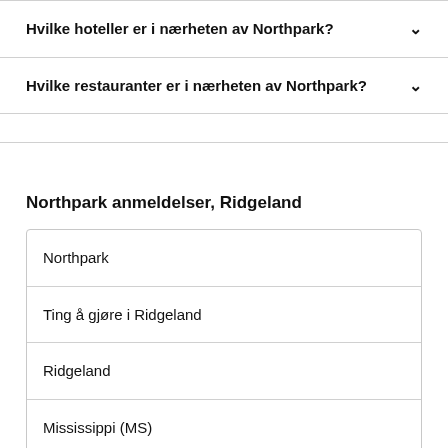Hvilke hoteller er i nærheten av Northpark?
Hvilke restauranter er i nærheten av Northpark?
Northpark anmeldelser, Ridgeland
Northpark
Ting å gjøre i Ridgeland
Ridgeland
Mississippi (MS)
USA